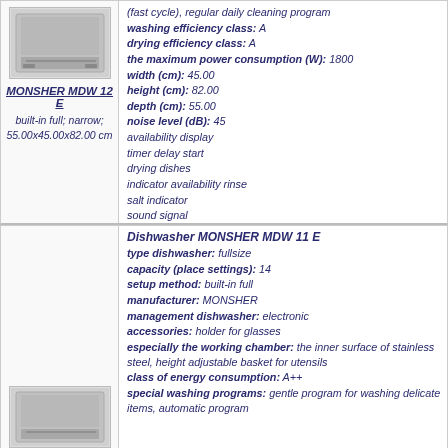[Figure (photo): Dishwasher product image for MONSHER MDW 12 E]
MONSHER MDW 12 E
built-in full; narrow; 55.00x45.00x82.00 cm
(fast cycle), regular daily cleaning program
washing efficiency class: A
drying efficiency class: A
the maximum power consumption (W): 1800
width (cm): 45.00
height (cm): 82.00
depth (cm): 55.00
noise level (dB): 45
availability display
timer delay start
drying dishes
indicator availability rinse
salt indicator
sound signal
protection of children
use of the 3 in 1
protection against leaks
more information
Dishwasher MONSHER MDW 11 E
type dishwasher: fullsize
capacity (place settings): 14
setup method: built-in full
manufacturer: MONSHER
management dishwasher: electronic
accessories: holder for glasses
especially the working chamber: the inner surface of stainless steel, height adjustable basket for utensils
class of energy consumption: A++
special washing programs: gentle program for washing delicate items, automatic program